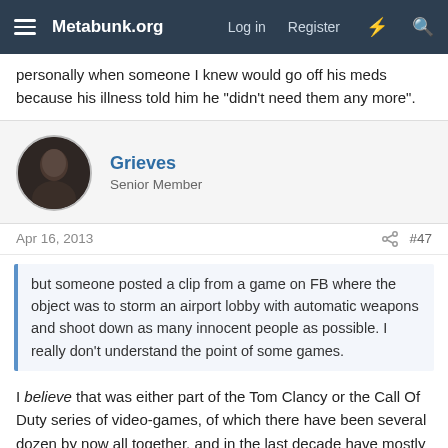Metabunk.org  Log in  Register
personally when someone I knew would go off his meds because his illness told him he "didn't need them any more".
Grieves
Senior Member
Apr 16, 2013  #47
but someone posted a clip from a game on FB where the object was to storm an airport lobby with automatic weapons and shoot down as many innocent people as possible. I really don't understand the point of some games.
I believe that was either part of the Tom Clancy or the Call Of Duty series of video-games, of which there have been several dozen by now all together, and in the last decade have mostly revolved around killing many, many terrorists... though sometimes involve 'fictional' future conflicts with other countries as well. A whole lot of these games feature the CIA as the